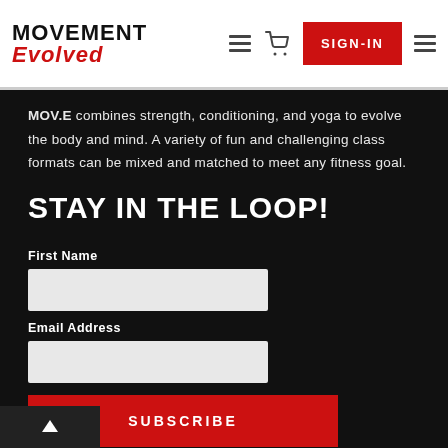Movement Evolved – navigation header with SIGN-IN button
MOV.E combines strength, conditioning, and yoga to evolve the body and mind. A variety of fun and challenging class formats can be mixed and matched to meet any fitness goal.
STAY IN THE LOOP!
First Name
Email Address
SUBSCRIBE